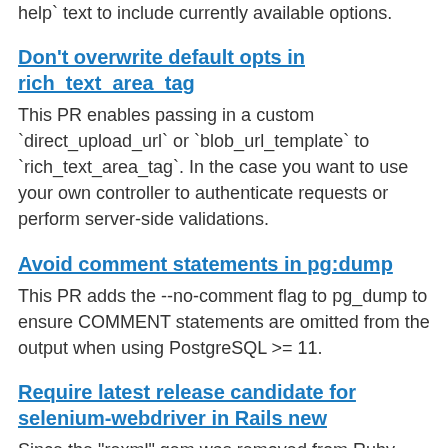help` text to include currently available options.
Don't overwrite default opts in rich_text_area_tag
This PR enables passing in a custom `direct_upload_url` or `blob_url_template` to `rich_text_area_tag`. In the case you want to use your own controller to authenticate requests or perform server-side validations.
Avoid comment statements in pg:dump
This PR adds the --no-comment flag to pg_dump to ensure COMMENT statements are omitted from the output when using PostgreSQL >= 11.
Require latest release candidate for selenium-webdriver in Rails new
Since the "rexml" gem was removed from Ruby